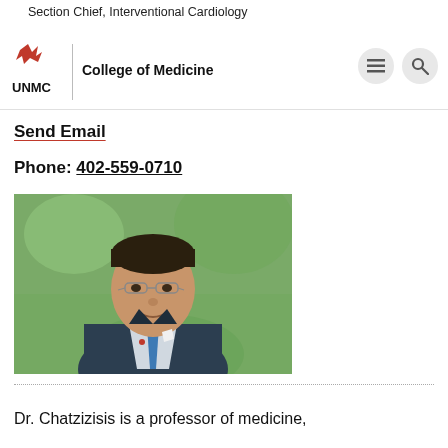Section Chief, Interventional Cardiology
[Figure (logo): UNMC logo with bird/flame mark above text UNMC, beside vertical divider and College of Medicine text, with hamburger menu and search icons]
Send Email
Phone: 402-559-0710
[Figure (photo): Professional headshot of Dr. Chatzizisis, a man wearing glasses and a dark suit with a blue tie, smiling, with blurred green outdoor background]
Dr. Chatzizisis is a professor of medicine,